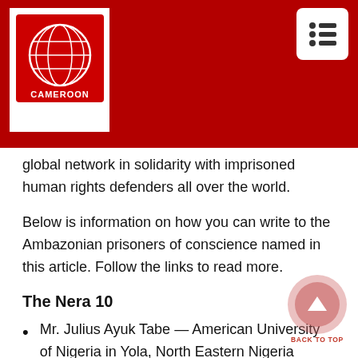[Figure (logo): Cameroon Intelligence Report logo — globe on red background with text 'CAMEROON Intelligence Report']
global network in solidarity with imprisoned human rights defenders all over the world.
Below is information on how you can write to the Ambazonian prisoners of conscience named in this article. Follow the links to read more.
The Nera 10
Mr. Julius Ayuk Tabe — American University of Nigeria in Yola, North Eastern Nigeria
Mr. Wilfred Tassang — organizer with the Ambazonian teachers Union, CAPTAC
Professor Augustine Awasum — Ahmadu Bello University,